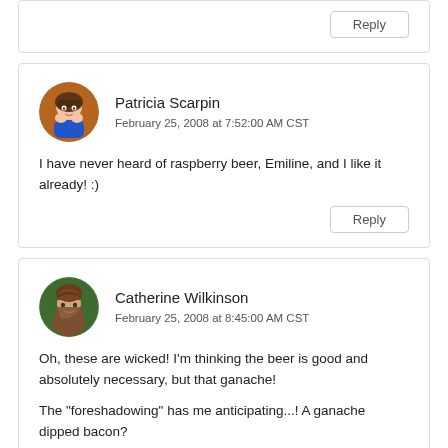Reply
Patricia Scarpin
February 25, 2008 at 7:52:00 AM CST
I have never heard of raspberry beer, Emiline, and I like it already! :)
Reply
Catherine Wilkinson
February 25, 2008 at 8:45:00 AM CST
Oh, these are wicked! I'm thinking the beer is good and absolutely necessary, but that ganache!

The "foreshadowing" has me anticipating...! A ganache dipped bacon?